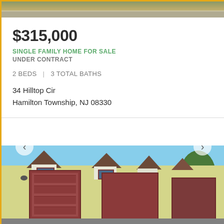[Figure (photo): Top cropped photo showing grassy/road scene at top of listing card]
$315,000
SINGLE FAMILY HOME FOR SALE
UNDER CONTRACT
2 BEDS | 3 TOTAL BATHS
34 Hilltop Cir
Hamilton Township, NJ 08330
[Figure (photo): Exterior photo of a long building with multiple garage doors with dark red trim and dormer windows above, with trees in background and paved driveway. Navigation arrows visible on left and right sides.]